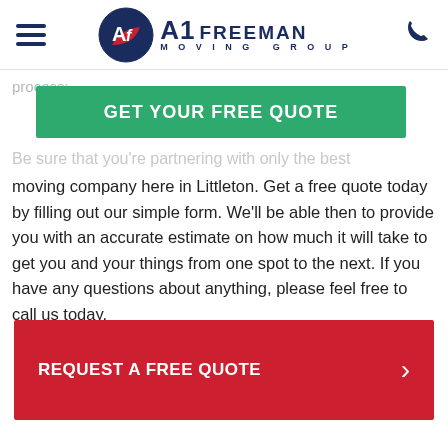A1 Freeman Moving Group
process:
GET YOUR FREE QUOTE
Be sure that you're partnering with only the best moving company here in Littleton. Get a free quote today by filling out our simple form. We'll be able then to provide you with an accurate estimate on how much it will take to get you and your things from one spot to the next. If you have any questions about anything, please feel free to call us today.
REQUEST A FREE QUOTE